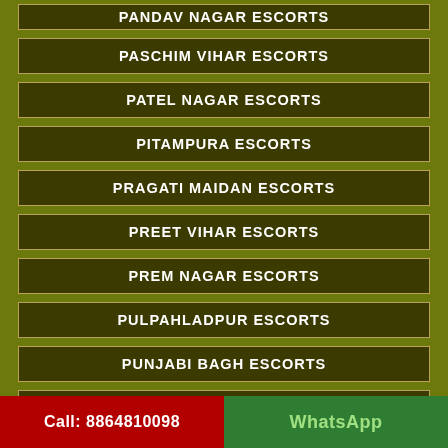PANDAV NAGAR ESCORTS
PASCHIM VIHAR ESCORTS
PATEL NAGAR ESCORTS
PITAMPURA ESCORTS
PRAGATI MAIDAN ESCORTS
PREET VIHAR ESCORTS
PREM NAGAR ESCORTS
PULPAHLADPUR ESCORTS
PUNJABI BAGH ESCORTS
QUTABGARH ESCORTS
QUTUB VIHAR ESCORTS
R K PURAM ESCORTS
Call: 8864810098   WhatsApp